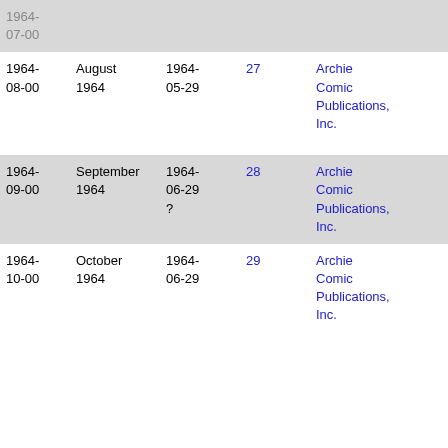| 1964-07-00 |  |  |  |  |
| 1964-08-00 | August 1964 | 1964-05-29 | 27 | Archie Comic Publications, Inc. |
| 1964-09-00 | September 1964 | 1964-06-29 ? | 28 | Archie Comic Publications, Inc. |
| 1964-10-00 | October 1964 | 1964-06-29 | 29 | Archie Comic Publications, Inc. |
| 1964-11-00 |  |  |  |  |